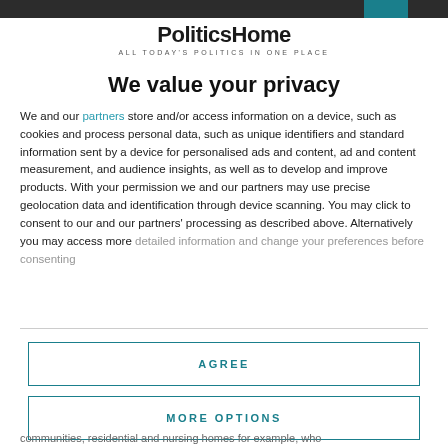PoliticsHome ALL TODAY'S POLITICS IN ONE PLACE
We value your privacy
We and our partners store and/or access information on a device, such as cookies and process personal data, such as unique identifiers and standard information sent by a device for personalised ads and content, ad and content measurement, and audience insights, as well as to develop and improve products. With your permission we and our partners may use precise geolocation data and identification through device scanning. You may click to consent to our and our partners' processing as described above. Alternatively you may access more detailed information and change your preferences before consenting
AGREE
MORE OPTIONS
communities, residential and nursing homes for example, who